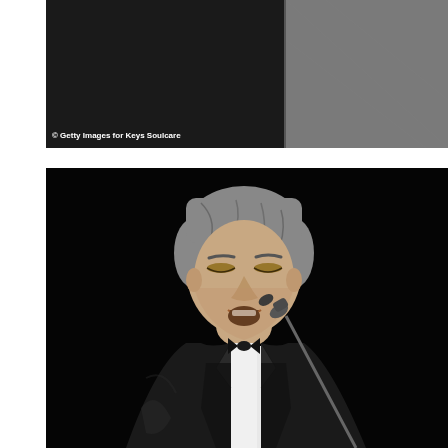[Figure (photo): Top portion showing a partial image with white/gray background on the right side and a dark image on the left with watermark text: © Getty Images for Keys Soulcare]
[Figure (photo): A man in a black tuxedo with bow tie singing into a microphone on a dark stage. He has gray hair and his eyes are nearly closed. The background is completely black.]